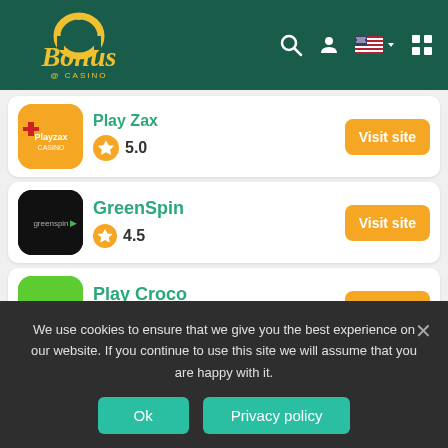[Figure (logo): Bonus Casino website header with logo and navigation icons]
Play Zax - Rating 5.0 - Visit site
GreenSpin - Rating 4.5 - Visit site
Play Croco - Rating 5.0 - Visit site
RocketPot - Rating 4.5 - Visit site
We use cookies to ensure that we give you the best experience on our website. If you continue to use this site we will assume that you are happy with it.